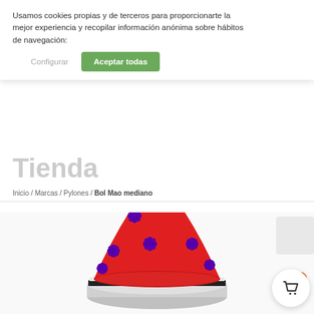Usamos cookies propias y de terceros para proporcionarte la mejor experiencia y recopilar información anónima sobre hábitos de navegación:
Configurar
Aceptar todas
Tienda
Inicio / Marcas / Pylones / Bol Mao mediano
[Figure (photo): Product photo of Bol Mao mediano: a red conical lid with purple star/cross pattern and a round red knob on top, partially showing a metallic bowl body below. A search icon (magnifying glass) is visible in the top right. A shopping cart button with badge showing 0 is in the bottom right.]